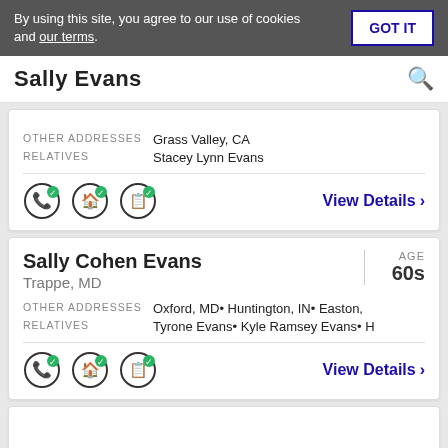By using this site, you agree to our use of cookies and our terms.
GOT IT
Sally Evans
OTHER ADDRESSES: Grass Valley, CA
RELATIVES: Stacey Lynn Evans
[Figure (infographic): Three circular icons with green checkmarks: phone, house, document]
View Details >
Sally Cohen Evans, Trappe, MD, AGE 60s
OTHER ADDRESSES: Oxford, MD• Huntington, IN• Easton,
RELATIVES: Tyrone Evans• Kyle Ramsey Evans• H
[Figure (infographic): Three circular icons with green checkmarks: phone, house, document]
View Details >